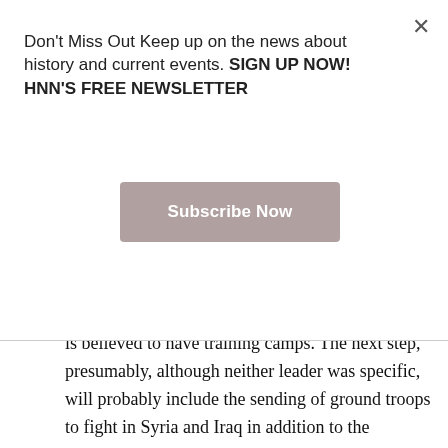Don't Miss Out Keep up on the news about history and current events. SIGN UP NOW! HNN'S FREE NEWSLETTER
Subscribe Now
is believed to have training camps. The next step, presumably, although neither leader was specific, will probably include the sending of ground troops to fight in Syria and Iraq in addition to the bombing campaigns now being mounted by both countries and Russia. This is an extension and intensification of current policy rather than a new venture, and, to judge by the Russian experience in Afghanistan and ours in Afghanistan and